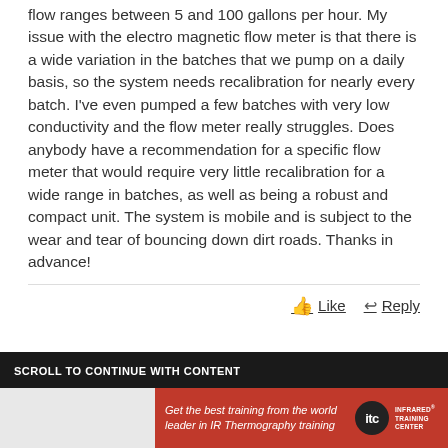flow ranges between 5 and 100 gallons per hour. My issue with the electro magnetic flow meter is that there is a wide variation in the batches that we pump on a daily basis, so the system needs recalibration for nearly every batch. I've even pumped a few batches with very low conductivity and the flow meter really struggles. Does anybody have a recommendation for a specific flow meter that would require very little recalibration for a wide range in batches, as well as being a robust and compact unit. The system is mobile and is subject to the wear and tear of bouncing down dirt roads. Thanks in advance!
Like  Reply
SCROLL TO CONTINUE WITH CONTENT
[Figure (other): ITC Infrared Training Center advertisement banner: red background with white italic text 'Get the best training from the world leader in IR Thermography training' and ITC logo with black circle and white stacked text 'INFRARED TRAINING CENTER']